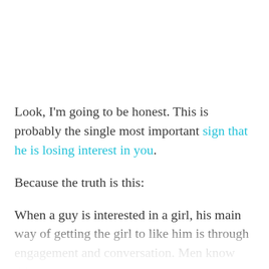Look, I'm going to be honest. This is probably the single most important sign that he is losing interest in you.
Because the truth is this:
When a guy is interested in a girl, his main way of getting the girl to like him is through engagement and conversation. Men know this.
They'll try to make you laugh, they'll listen to